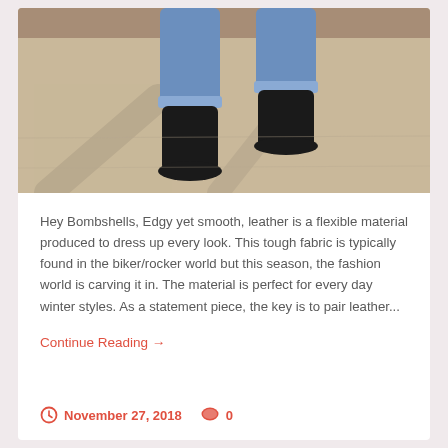[Figure (photo): Close-up photo of a person's lower legs wearing blue jeans cuffed at the ankle and black suede ankle boots, standing on a light concrete surface with shadows cast behind them.]
Hey Bombshells, Edgy yet smooth, leather is a flexible material produced to dress up every look. This tough fabric is typically found in the biker/rocker world but this season, the fashion world is carving it in. The material is perfect for every day winter styles. As a statement piece, the key is to pair leather...
Continue Reading →
November 27, 2018   0